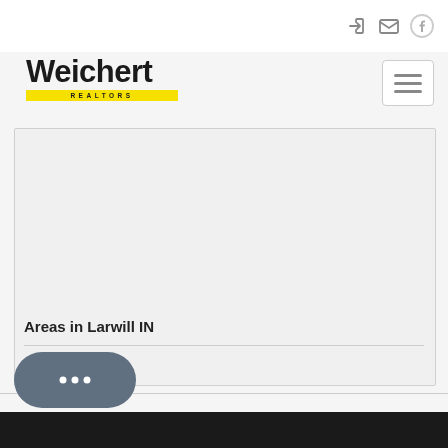Weichert Realtors navigation bar with icons
[Figure (logo): Weichert Realtors logo with bold black text and yellow bar reading REALTORS]
[Figure (screenshot): Map area placeholder showing a region map]
Areas in Larwill IN
Richland
Dark footer bar